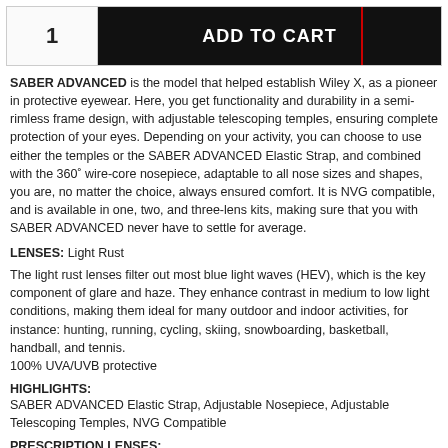[Figure (other): Add to Cart button bar with quantity selector showing '1' and black button labeled 'ADD TO CART']
SABER ADVANCED is the model that helped establish Wiley X, as a pioneer in protective eyewear. Here, you get functionality and durability in a semi-rimless frame design, with adjustable telescoping temples, ensuring complete protection of your eyes. Depending on your activity, you can choose to use either the temples or the SABER ADVANCED Elastic Strap, and combined with the 360° wire-core nosepiece, adaptable to all nose sizes and shapes, you are, no matter the choice, always ensured comfort. It is NVG compatible, and is available in one, two, and three-lens kits, making sure that you with SABER ADVANCED never have to settle for average.
LENSES: Light Rust
The light rust lenses filter out most blue light waves (HEV), which is the key component of glare and haze. They enhance contrast in medium to low light conditions, making them ideal for many outdoor and indoor activities, for instance: hunting, running, cycling, skiing, snowboarding, basketball, handball, and tennis. 100% UVA/UVB protective
HIGHLIGHTS:
SABER ADVANCED Elastic Strap, Adjustable Nosepiece, Adjustable Telescoping Temples, NVG Compatible
PRESCRIPTION LENSES:
Can be made with prescription lenses, by the use of a Prescription Insert (PTX). Use our dealer locator to find a Wiley X dealer near you to help make your prescription lenses. More details on Prescription Lenses can be found at the bottom of the...